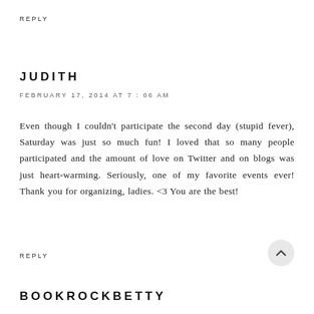REPLY
JUDITH
FEBRUARY 17, 2014 AT 7:06 AM
Even though I couldn't participate the second day (stupid fever), Saturday was just so much fun! I loved that so many people participated and the amount of love on Twitter and on blogs was just heart-warming. Seriously, one of my favorite events ever! Thank you for organizing, ladies. <3 You are the best!
REPLY
BOOKROCKBETTY